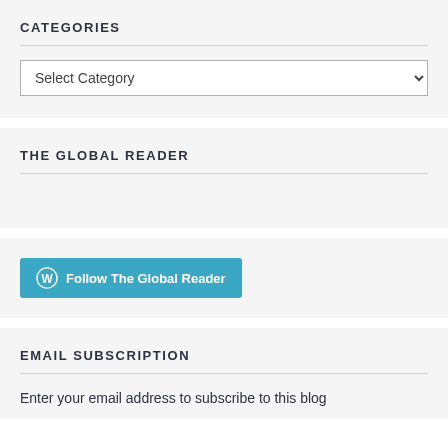CATEGORIES
[Figure (screenshot): Dropdown select box with label 'Select Category']
THE GLOBAL READER
[Figure (screenshot): WordPress Follow button: Follow The Global Reader]
EMAIL SUBSCRIPTION
Enter your email address to subscribe to this blog